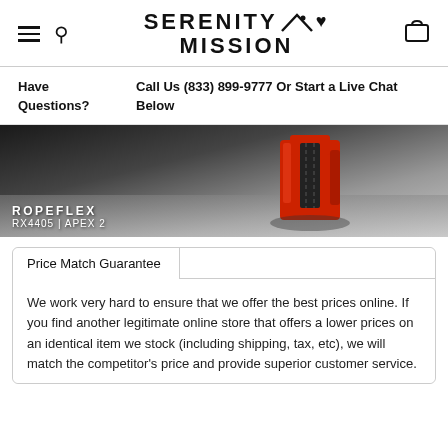Serenity Mission — navigation header with hamburger menu, search icon, logo, and cart icon
Have Questions?  Call Us (833) 899-9777 Or Start a Live Chat Below
[Figure (photo): Product photo of a red Ropeflex RX4405 APEX 2 rope climbing machine against a concrete surface. Text overlay reads: ROPEFLEX RX4405 | APEX 2]
Price Match Guarantee
We work very hard to ensure that we offer the best prices online. If you find another legitimate online store that offers a lower prices on an identical item we stock (including shipping, tax, etc), we will match the competitor's price and provide superior customer service.